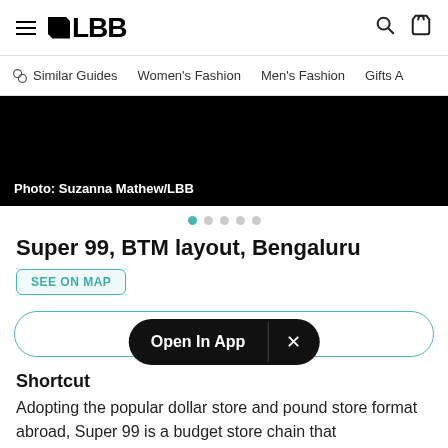LBB
Similar Guides   Women's Fashion   Men's Fashion   Gifts A...
[Figure (photo): Dark/black image with caption: Photo: Suzanna Mathew/LBB]
Photo: Suzanna Mathew/LBB
Super 99, BTM layout, Bengaluru
SEE ON MAP
VISIT SITE
Open In App
Shortcut
Adopting the popular dollar store and pound store format abroad, Super 99 is a budget store chain that